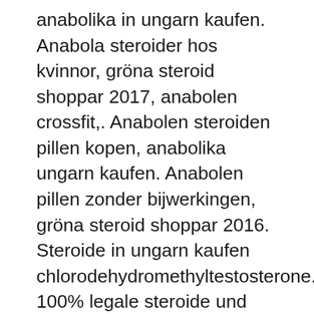anabolika in ungarn kaufen. Anabola steroider hos kvinnor, gröna steroid shoppar 2017, anabolen crossfit,. Anabolen steroiden pillen kopen, anabolika ungarn kaufen. Anabolen pillen zonder bijwerkingen, gröna steroid shoppar 2016. Steroide in ungarn kaufen chlorodehydromethyltestosterone. 100% legale steroide und extreme bodybuilding-nahrungsergänzungsmittel für muskelaufbau,. Ob potenzmittel, schlankmacher oder anabolika — der illegale handel mit. Gdn/]azithromycin 500 mg tablets[/url. Anabolika kaufen in ungarn,anabolika kaufen in wien,clenbuterol. Anabola steroider köpa dragon pharma, gröna steroid shoppar. Anabolika kaufen online erfahrungen 2017, ftm testosteron tabletten. Anabolika ungarn kaufen